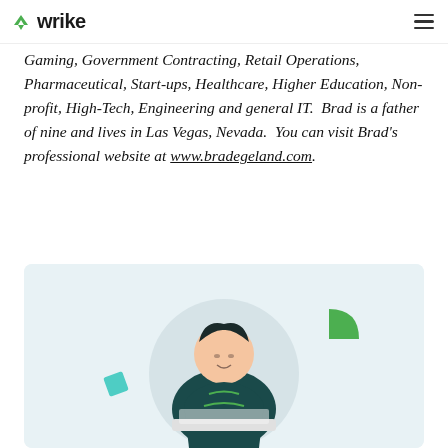wrike
Gaming, Government Contracting, Retail Operations, Pharmaceutical, Start-ups, Healthcare, Higher Education, Non-profit, High-Tech, Engineering and general IT.  Brad is a father of nine and lives in Las Vegas, Nevada.  You can visit Brad's professional website at www.bradegeland.com.
[Figure (illustration): Illustration of a person working on a laptop, with abstract geometric shapes in teal and green on a light blue/grey background.]